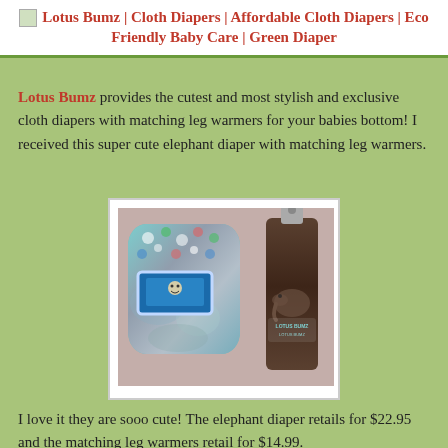🌿 Lotus Bumz | Cloth Diapers | Affordable Cloth Diapers | Eco Friendly Baby Care | Green Diaper
Lotus Bumz provides the cutest and most stylish and exclusive cloth diapers with matching leg warmers for your babies bottom! I received this super cute elephant diaper with matching leg warmers.
[Figure (photo): Photo of an elephant-print cloth diaper in blue/grey/white colors with Lotus Bumz packaging label, next to a pair of dark brown matching leg warmers with elephant pattern and Lotus Bumz logo.]
I love it they are sooo cute! The elephant diaper retails for $22.95 and the matching leg warmers retail for $14.99.